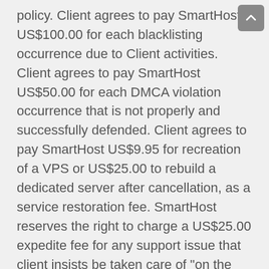policy. Client agrees to pay SmartHost US$100.00 for each blacklisting occurrence due to Client activities. Client agrees to pay SmartHost US$50.00 for each DMCA violation occurrence that is not properly and successfully defended. Client agrees to pay SmartHost US$9.95 for recreation of a VPS or US$25.00 to rebuild a dedicated server after cancellation, as a service restoration fee. SmartHost reserves the right to charge a US$25.00 expedite fee for any support issue that client insists be taken care of "on the spot" immediately. Charges may be incurred for Abnormal Support requests serviced on your account.
2.7 Reseller / End-User Relationship. All SmartHost clientele, regardless of Authorized Reseller status, are responsible for all debts incurred on their account, regardless if service was resold and/or